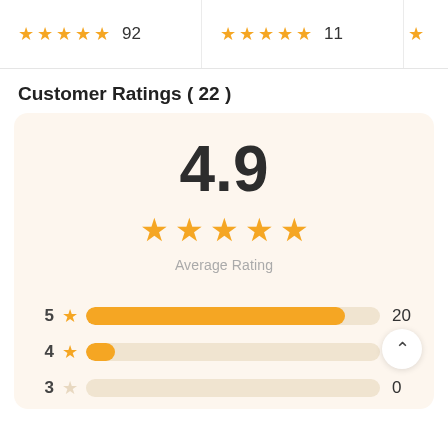[Figure (other): Top row showing two product cards, each with 5 orange stars and review counts: 92 and 11]
Customer Ratings ( 22 )
[Figure (infographic): Rating panel showing 4.9 average rating with 5 orange stars and label 'Average Rating']
[Figure (bar-chart): Customer Ratings breakdown]